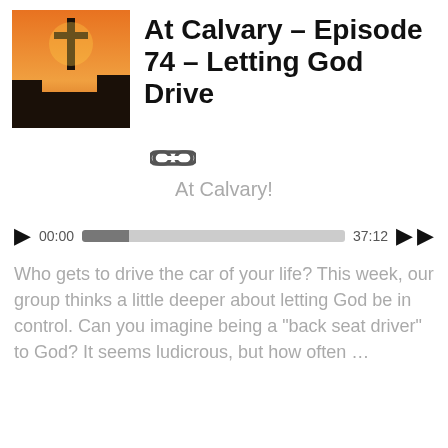[Figure (photo): Podcast artwork showing a cross silhouette against an orange sunset sky]
At Calvary – Episode 74 – Letting God Drive
[Figure (other): Link icon (chain link symbol)]
At Calvary!
[Figure (other): Audio player with play button, time 00:00, progress bar, duration 37:12, and skip buttons]
Who gets to drive the car of your life? This week, our group thinks a little deeper about letting God be in control. Can you imagine being a "back seat driver" to God? It seems ludicrous, but how often …